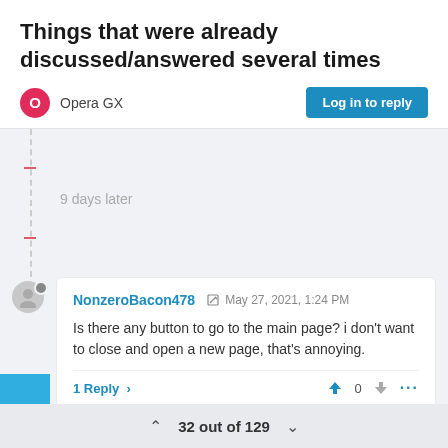Things that were already discussed/answered several times
Opera GX
Log in to reply
9 days later
NonzeroBacon478  May 27, 2021, 1:24 PM
Is there any button to go to the main page? i don't want to close and open a new page, that's annoying.
1 Reply >
32 out of 129